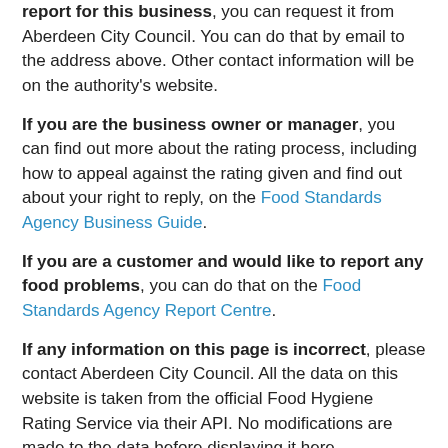report for this business, you can request it from Aberdeen City Council. You can do that by email to the address above. Other contact information will be on the authority's website.
If you are the business owner or manager, you can find out more about the rating process, including how to appeal against the rating given and find out about your right to reply, on the Food Standards Agency Business Guide.
If you are a customer and would like to report any food problems, you can do that on the Food Standards Agency Report Centre.
If any information on this page is incorrect, please contact Aberdeen City Council. All the data on this website is taken from the official Food Hygiene Rating Service via their API. No modifications are made to the data before displaying it here.
Previous Ratings